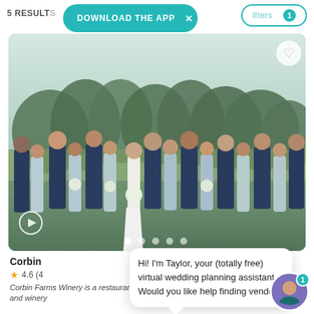5 RESULTS
DOWNLOAD THE APP
Filters 1
[Figure (photo): Wedding party group photo outdoors. Bride in white gown surrounded by bridesmaids in light blue dresses and groomsmen in navy suits, standing on grass with trees and fields in background.]
Corbin
4.6 (4
Corbin Farms Winery is a restaurant and winery
Hi! I'm Taylor, your (totally free) virtual wedding planning assistant. Would you like help finding vendo...